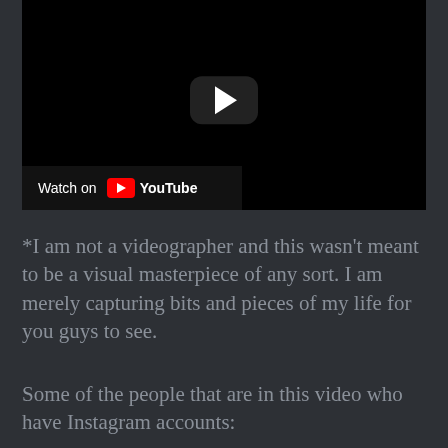[Figure (screenshot): Embedded YouTube video player showing a dark/black video frame with a YouTube play button in the center and a 'Watch on YouTube' bar at the bottom left.]
*I am not a videographer and this wasn't meant to be a visual masterpiece of any sort. I am merely capturing bits and pieces of my life for you guys to see.
Some of the people that are in this video who have Instagram accounts: